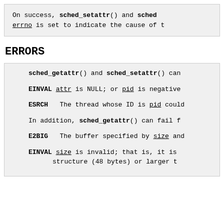On success, sched_setattr() and sched... errno is set to indicate the cause of t...
ERRORS
sched_getattr() and sched_setattr() can...
EINVAL attr is NULL; or pid is negative...
ESRCH The thread whose ID is pid could...
In addition, sched_getattr() can fail f...
E2BIG The buffer specified by size and...
EINVAL size is invalid; that is, it is... structure (48 bytes) or larger t...